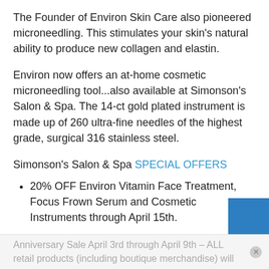The Founder of Environ Skin Care also pioneered microneedling. This stimulates your skin's natural ability to produce new collagen and elastin.
Environ now offers an at-home cosmetic microneedling tool...also available at Simonson's Salon & Spa. The 14-ct gold plated instrument is made up of 260 ultra-fine needles of the highest grade, surgical 316 stainless steel.
Simonson's Salon & Spa SPECIAL OFFERS
20% OFF Environ Vitamin Face Treatment, Focus Frown Serum and Cosmetic Instruments through April 15th.
Simonson's is celebrating 34 years with an
Anniversary Sale April 3rd through April 9th – ALL retail products (including boutique merchandise) will